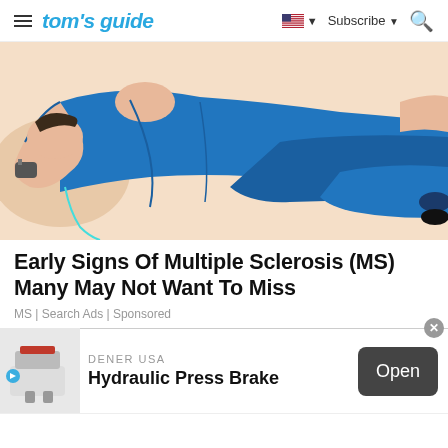tom's guide | Subscribe
[Figure (illustration): Illustration of a person in a blue suit lying down, side profile, with hands extended, on a light peach/white background — representing a person with MS symptoms]
Early Signs Of Multiple Sclerosis (MS) Many May Not Want To Miss
MS | Search Ads | Sponsored
[Figure (illustration): Partial illustration showing red lightning bolt shapes on a light gray background, part of a second advertisement]
[Figure (photo): DENER USA - Hydraulic Press Brake advertisement with machine image, brand name, product title, and an Open button]
DENER USA
Hydraulic Press Brake
Open